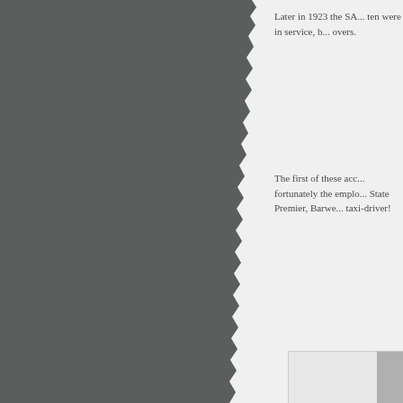[Figure (photo): Left portion of page showing a dark grey torn-edge photograph or illustration]
Later in 1923 the SA... ten were in service, b... overs.
The first of these acc... fortunately the emplo... State Premier, Barwe... taxi-driver!
[Figure (photo): Partially visible photograph in lower right area, light grey tones]